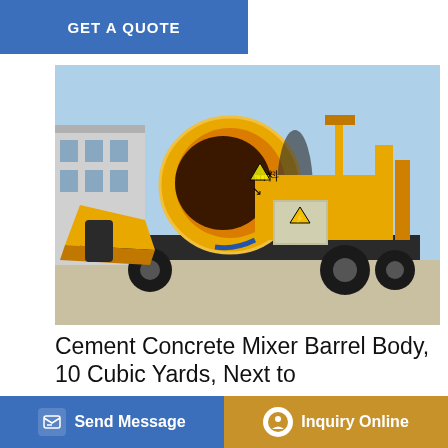GET A QUOTE
[Figure (photo): Yellow cement concrete mixer barrel with pump mounted on a wheeled trailer, photographed outdoors near a factory building. The mixer drum is large and cylindrical with Chinese characters. A gray electrical control box with hazard symbol is visible on the side.]
Cement Concrete Mixer Barrel Body, 10 Cubic Yards, Next to
Vertical Flat Mixer Large Concrete Mixer Five Cubic Meter Mixing Tank Mortar. $1,300.00 + $1,000.00 shipping + .00 sh seen in pictures and video it is barely used Cement Concrete